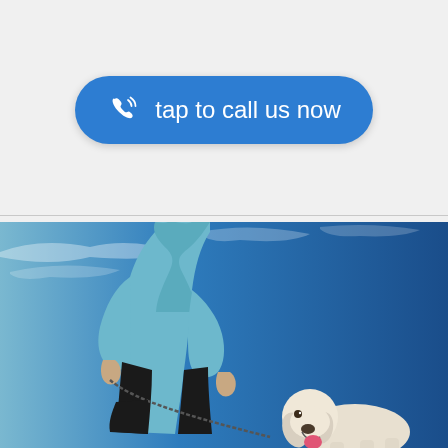[Figure (other): Blue rounded rectangle button with phone/call icon and text 'tap to call us now' in white on light gray background]
[Figure (photo): Woman in light blue/teal long-sleeve athletic top and black pants walking/running a white Labrador dog on a leash, photographed from low angle against a bright blue sky with wispy clouds]